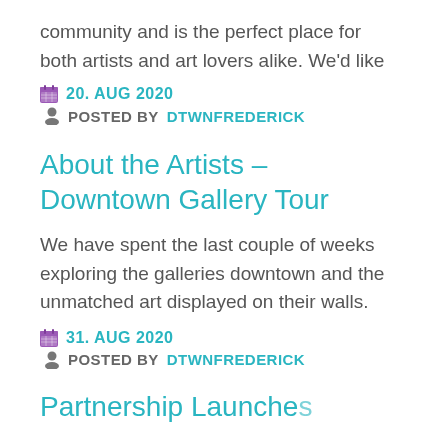community and is the perfect place for both artists and art lovers alike. We'd like
20. AUG 2020
POSTED BY DTWNFREDERICK
About the Artists – Downtown Gallery Tour
We have spent the last couple of weeks exploring the galleries downtown and the unmatched art displayed on their walls.
31. AUG 2020
POSTED BY DTWNFREDERICK
Partnership Launche...